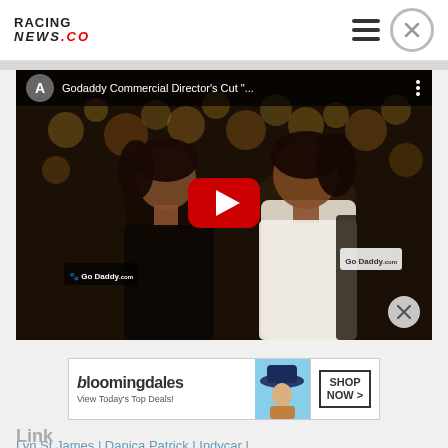RACING NEWS.CO
[Figure (screenshot): YouTube video thumbnail showing two women wearing GoDaddy.com branded shirts with a YouTube play button overlay. Video title reads: Godaddy Commercial Director's Cut "..."]
[Figure (photo): Bloomingdale's advertisement banner: 'bloomingdales - View Today's Top Deals!' with a woman in a hat and a 'SHOP NOW >' call to action button]
Link
Lyn St James | Danica Patrick | Indycar |